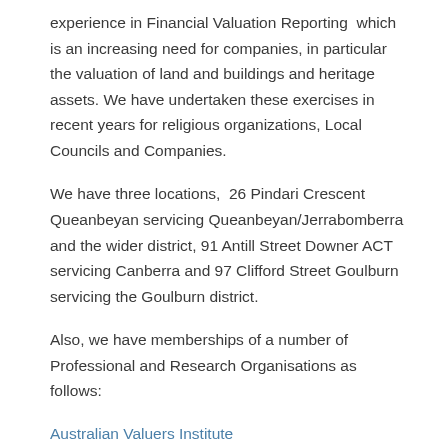experience in Financial Valuation Reporting which is an increasing need for companies, in particular the valuation of land and buildings and heritage assets. We have undertaken these exercises in recent years for religious organizations, Local Councils and Companies.
We have three locations, 26 Pindari Crescent Queanbeyan servicing Queanbeyan/Jerrabomberra and the wider district, 91 Antill Street Downer ACT servicing Canberra and 97 Clifford Street Goulburn servicing the Goulburn district.
Also, we have memberships of a number of Professional and Research Organisations as follows:
Australian Valuers Institute
Australian Property Institute
Pacific Rim Real Estate Society